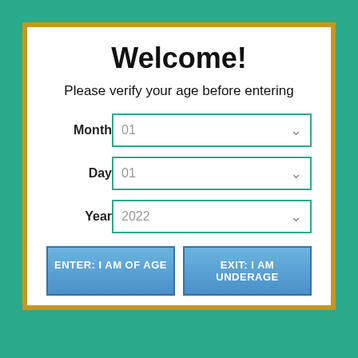Welcome!
Please verify your age before entering
Month  01
Day  01
Year  2022
ENTER: I AM OF AGE
EXIT: I AM UNDERAGE